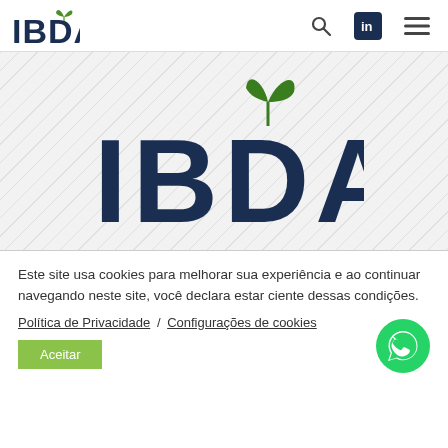[Figure (logo): IBDA logo in navy blue with green leaf icon on top of the D, in the navigation bar]
[Figure (logo): IBDA large logo centered on diagonal striped background in the hero banner, with green leaf sprout above the D]
Este site usa cookies para melhorar sua experiência e ao continuar navegando neste site, você declara estar ciente dessas condições.
Política de Privacidade / Configurações de cookies
Aceitar